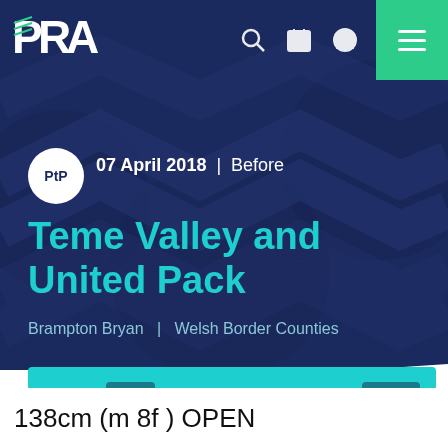[Figure (screenshot): PRA website navigation bar with logo, search, calendar, user icons and green hamburger menu button]
PtP  07 April 2018  |  Before
Teme Valley and United Pack
Brampton Bryan  |  Welsh Border Counties
138cm  m 8f     148cm  m 12f
138cm (m 8f ) OPEN